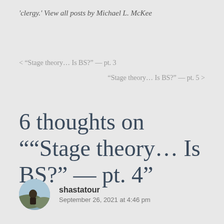'clergy.' View all posts by Michael L. McKee
< “Stage theory… Is BS?” — pt. 3
“Stage theory… Is BS?” — pt. 5 >
6 thoughts on ““Stage theory… Is BS?” — pt. 4”
shastatour
September 26, 2021 at 4:46 pm